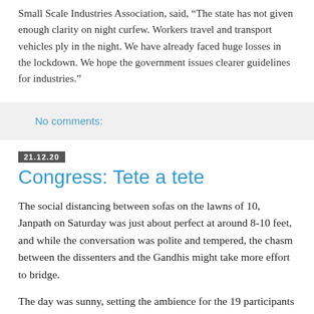Small Scale Industries Association, said, “The state has not given enough clarity on night curfew. Workers travel and transport vehicles ply in the night. We have already faced huge losses in the lockdown. We hope the government issues clearer guidelines for industries.”
No comments:
21.12.20
Congress: Tete a tete
The social distancing between sofas on the lawns of 10, Janpath on Saturday was just about perfect at around 8-10 feet, and while the conversation was polite and tempered, the chasm between the dissenters and the Gandhis might take more effort to bridge.
The day was sunny, setting the ambience for the 19 participants who reflected a subtle balance. There were seven “letter writers”, an equal number of “loyalists”, the three Gandhis and Kamal Nath and P Chidambaram who did